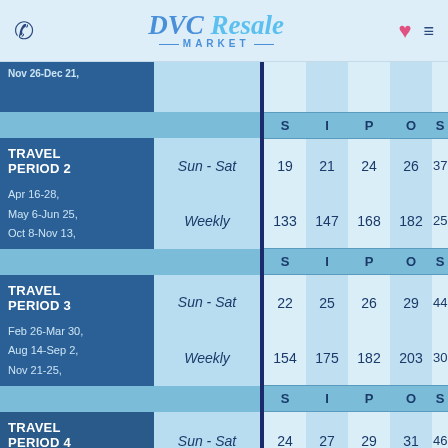DVC Resale Market
| Period | Days | S | I | P | O | S |
| --- | --- | --- | --- | --- | --- | --- |
| Nov 26-Dec 21, |  |  |  |  |  |  |
|  |  | S | I | P | O | S |
| TRAVEL PERIOD 2
Apr 16-28, May 6-Jun 25, Oct 8-Nov 13, | Sun - Sat | 19 | 21 | 24 | 26 | 37 |
|  | Weekly | 133 | 147 | 168 | 182 | 259 |
|  |  | S | I | P | O | S |
| TRAVEL PERIOD 3
Feb 26-Mar 30, Aug 14-Sep 2, Nov 21-25, | Sun - Sat | 22 | 25 | 26 | 29 | 44 |
|  | Weekly | 154 | 175 | 182 | 203 | 308 |
|  |  | S | I | P | O | S |
| TRAVEL PERIOD 4 | Sun - Sat | 24 | 27 | 29 | 31 | 46 |